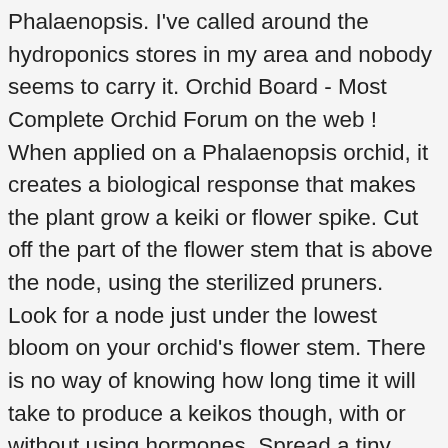Phalaenopsis. I've called around the hydroponics stores in my area and nobody seems to carry it. Orchid Board - Most Complete Orchid Forum on the web ! When applied on a Phalaenopsis orchid, it creates a biological response that makes the plant grow a keiki or flower spike. Cut off the part of the flower stem that is above the node, using the sterilized pruners. Look for a node just under the lowest bloom on your orchid's flower stem. There is no way of knowing how long time it will take to produce a keikos though, with or without using hormones. Spread a tiny amount of keiki paste onto the bud underneath the outer layer. Any suggestions? With some other plants, like some of my other favorite plants Christmas and Thanksgiving cacti, it's so easy to multiply them – just take a cutting from the mother plant, root it, and plant it in potting medium. What is the best way to re-root orchids that have lost their roots for one reason or another? Soak a clean cloth in rubbing alcohol, and sterilize a scalpel, tweezers and pruners by wiping them with the soaked cloth. When you have a plant such as an orchid, it's no wonder that you'd want to